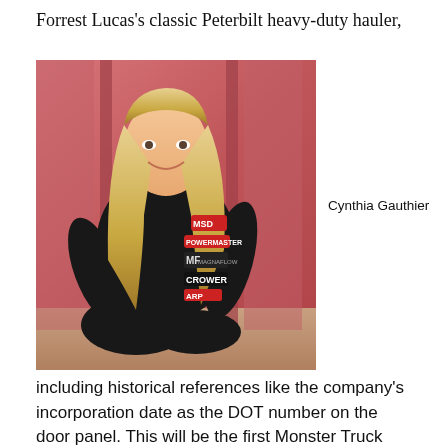Forrest Lucas's classic Peterbilt heavy-duty hauler,
[Figure (photo): Woman with long blonde hair wearing a black racing suit with sponsor logos (MSD, Powermaster, Magnaflow, Crower, ARP) sitting and smiling in front of a pink/red background.]
Cynthia Gauthier
including historical references like the company's incorporation date as the DOT number on the door panel. This will be the first Monster Truck with a big rig look